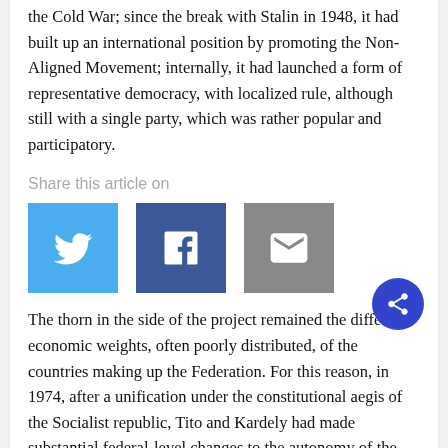the Cold War; since the break with Stalin in 1948, it had built up an international position by promoting the Non-Aligned Movement; internally, it had launched a form of representative democracy, with localized rule, although still with a single party, which was rather popular and participatory.
Share this article on
[Figure (infographic): Three social share buttons: Twitter (blue bird icon), Facebook (dark blue f icon), Email (grey envelope icon)]
The thorn in the side of the project remained the different economic weights, often poorly distributed, of the countries making up the Federation. For this reason, in 1974, after a unification under the constitutional aegis of the Socialist republic, Tito and Kardely had made substantial federal-level changes to the autonomy of the six republics (Slovenia, Croatia, Macedonia, Bosnia-Herzegovina, Montenegro, Serbia, plus two autonomous regions bundled with Serbia, Kosovo with an Albanian majority and Vojvodina with a strong presence of a